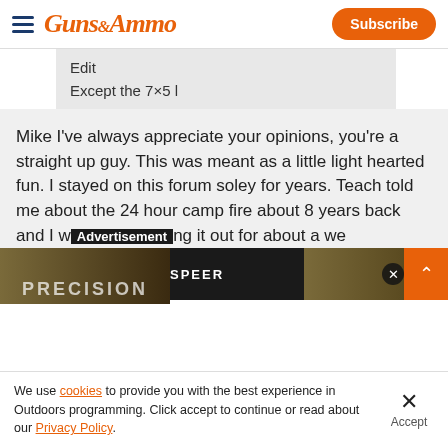Guns & Ammo | Subscribe
Edit
Except the 7×5 l
Mike I've always appreciate your opinions, you're a straight up guy. This was meant as a little light hearted fun. I stayed on this forum soley for years. Teach told me about the 24 hour camp fire about 8 years back and I w...ng it out for about a we...
[Figure (screenshot): Advertisement banner with SPEER branding and PRECISION text, with close and scroll buttons]
We use cookies to provide you with the best experience in Outdoors programming. Click accept to continue or read about our Privacy Policy.